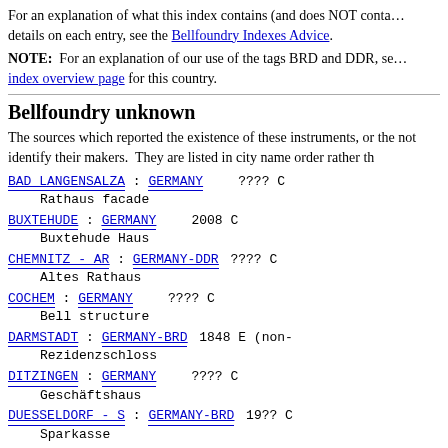For an explanation of what this index contains (and does NOT contain), and for details on each entry, see the Bellfoundry Indexes Advice.
NOTE: For an explanation of our use of the tags BRD and DDR, see the index overview page for this country.
Bellfoundry unknown
The sources which reported the existence of these instruments, or the surveys, did not identify their makers. They are listed in city name order rather than foundry.
BAD LANGENSALZA : GERMANY ???? C
    Rathaus facade
BUXTEHUDE : GERMANY 2008 C
    Buxtehude Haus
CHEMNITZ - AR : GERMANY-DDR ???? C
    Altes Rathaus
COCHEM : GERMANY ???? C
    Bell structure
DARMSTADT : GERMANY-BRD 1848 E (non-
    Rezidenzschloss
DITZINGEN : GERMANY ???? C
    Geschäftshaus
DUESSELDORF - S : GERMANY-BRD 19?? C
    Sparkasse
GERMERSHEIM : GERMANY 2009 C
    Stadtverwaltung